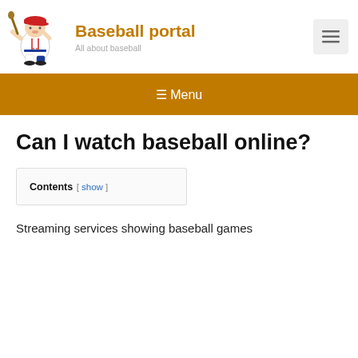[Figure (illustration): Cartoon baseball player in batting stance wearing red cap and white uniform with number 11]
Baseball portal
All about baseball
≡ Menu
Can I watch baseball online?
Contents [ show ]
Streaming services showing baseball games